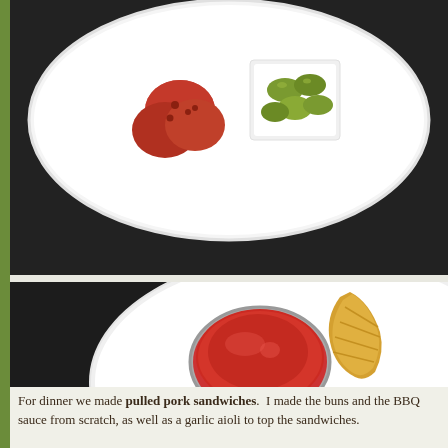[Figure (photo): Top-down view of a white plate with sliced sausage/salami and a small white square dish containing large green olives, on a dark wooden surface.]
[Figure (photo): Top-down view of a white plate with coconut shrimp and a small metal bowl of red dipping sauce (sweet chili sauce), on a dark wooden surface.]
For dinner we made pulled pork sandwiches.  I made the buns and the BBQ sauce from scratch, as well as a garlic aioli to top the sandwiches.